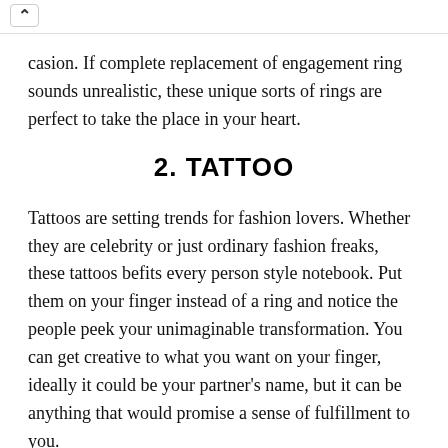^ [navigation bar]
...sion. If complete replacement of engagement ring sounds unrealistic, these unique sorts of rings are perfect to take the place in your heart.
2. TATTOO
Tattoos are setting trends for fashion lovers. Whether they are celebrity or just ordinary fashion freaks, these tattoos befits every person style notebook. Put them on your finger instead of a ring and notice the people peek your unimaginable transformation. You can get creative to what you want on your finger, ideally it could be your partner's name, but it can be anything that would promise a sense of fulfillment to you.